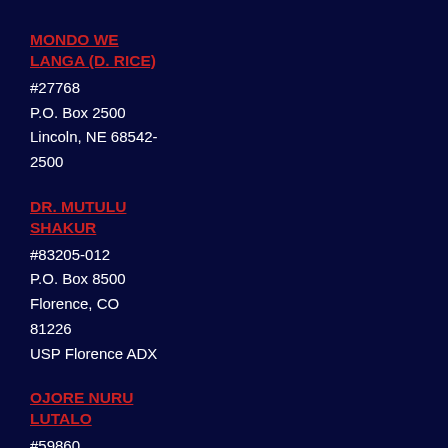MONDO WE LANGA (D. RICE)
#27768
P.O. Box 2500
Lincoln, NE 68542-2500
DR. MUTULU SHAKUR
#83205-012
P.O. Box 8500
Florence, CO 81226
USP Florence ADX
OJORE NURU LUTALO
#59860
P.O. Box 861
SBI# 0000901548